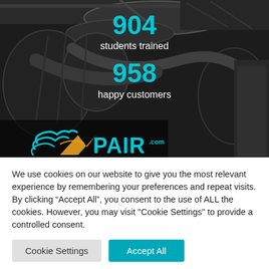[Figure (photo): Dark background showing industrial HVAC ductwork/pipes with XPAIR.com logo overlaid. Teal/cyan and orange logo with stylized bird/air element.]
904
students trained
958
happy customers
We use cookies on our website to give you the most relevant experience by remembering your preferences and repeat visits. By clicking “Accept All”, you consent to the use of ALL the cookies. However, you may visit "Cookie Settings" to provide a controlled consent.
Cookie Settings
Accept All